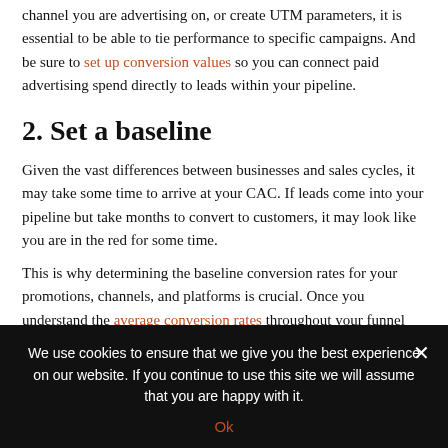channel you are advertising on, or create UTM parameters, it is essential to be able to tie performance to specific campaigns. And be sure to set up conversion values so you can connect paid advertising spend directly to leads within your pipeline.
2. Set a baseline
Given the vast differences between businesses and sales cycles, it may take some time to arrive at your CAC. If leads come into your pipeline but take months to convert to customers, it may look like you are in the red for some time.
This is why determining the baseline conversion rates for your promotions, channels, and platforms is crucial. Once you understand the average conversion rates throughout your funnel you can begin to accurately predict the CAC.
We use cookies to ensure that we give you the best experience on our website. If you continue to use this site we will assume that you are happy with it.
Ok